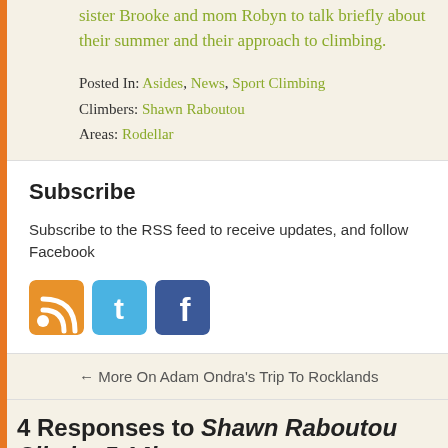sister Brooke and mom Robyn to talk briefly about their summer and their approach to climbing.
Posted In: Asides, News, Sport Climbing
Climbers: Shawn Raboutou
Areas: Rodellar
Subscribe
Subscribe to the RSS feed to receive updates, and follow Facebook
[Figure (illustration): Three social media icons: RSS (orange), Twitter (blue), Facebook (dark blue)]
← More On Adam Ondra's Trip To Rocklands
4 Responses to Shawn Raboutou Climbs 5.14b
Nuance  September 2, 2011 at 2:34 pm  #